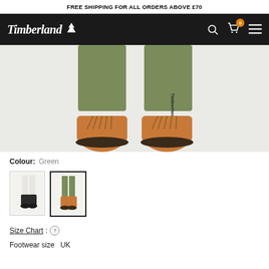FREE SHIPPING FOR ALL ORDERS ABOVE £70
[Figure (logo): Timberland logo with tree icon on dark background, plus search, cart (0) and menu icons]
[Figure (photo): Close-up of person's legs wearing olive green Timberland jogger pants with brand text on leg and tan/wheat Timberland lace-up boots on white background]
Colour: Green
[Figure (photo): Thumbnail of white/cream Timberland pants with black boots]
[Figure (photo): Thumbnail of olive green Timberland jogger pants (selected/active)]
Size Chart : ?
Footwear size  UK